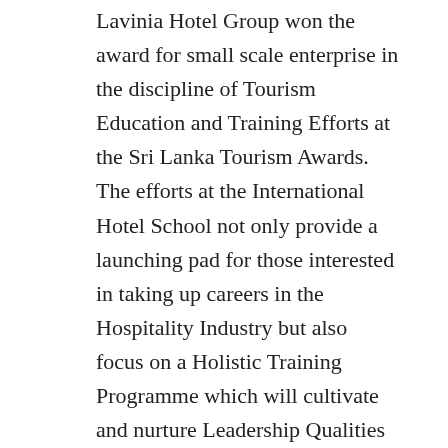Lavinia Hotel Group won the award for small scale enterprise in the discipline of Tourism Education and Training Efforts at the Sri Lanka Tourism Awards. The efforts at the International Hotel School not only provide a launching pad for those interested in taking up careers in the Hospitality Industry but also focus on a Holistic Training Programme which will cultivate and nurture Leadership Qualities and Quality Contributors to the Industry. The objective of the training is to build hospitality skills, life skills, grooming and etiquette, moral and character.
As the Chairman of Mount Lavinia Hotel, Sanath Ukwatte's vision is to offer equal opportunities to the rural youth in hospitality education in the rural villages itself. The concept of “Gama hada rata hadamu” enables deserving youth to study hospitality education without any additional expenses by living out of home. He